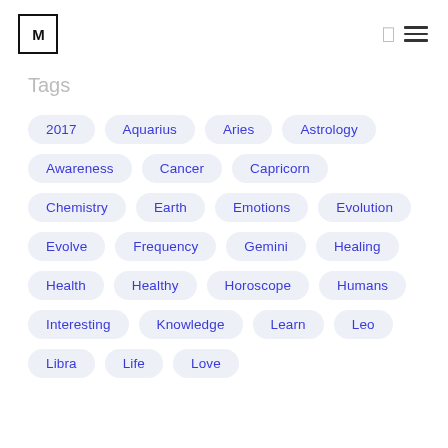[M] navigation header with logo and menu icons
Tags
2017
Aquarius
Aries
Astrology
Awareness
Cancer
Capricorn
Chemistry
Earth
Emotions
Evolution
Evolve
Frequency
Gemini
Healing
Health
Healthy
Horoscope
Humans
Interesting
Knowledge
Learn
Leo
Libra
Life
Love